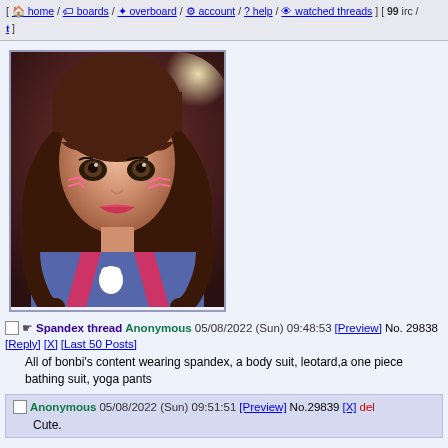[ home / boards / overboard / account / ? help / watched threads ] [ 99 irc / y ]
[Figure (photo): Photo of a person cosplaying as D.Va from Overwatch, wearing blue costume with pink accents, brown wavy hair with bangs, heavy makeup with pink cheek marks]
Spandex thread Anonymous 05/08/2022 (Sun) 09:48:53 [Preview] No. 29838 [Reply] [X] [Last 50 Posts]
All of bonbi's content wearing spandex, a body suit, leotard,a one piece bathing suit, yoga pants
Anonymous 05/08/2022 (Sun) 09:51:51 [Preview] No.29839 [X] del
Cute.